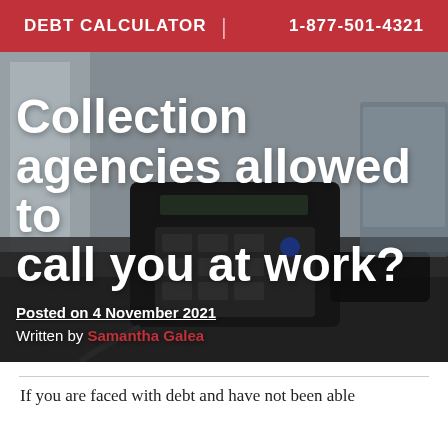DEBT CALCULATOR | 1-877-501-4321
[Figure (photo): Blurred office desk background with a black office telephone in focus, used as hero image background]
Collection agencies allowed to call you at work?
Posted on 4 November 2021
Written by Samantha Galea
If you are faced with debt and have not been able